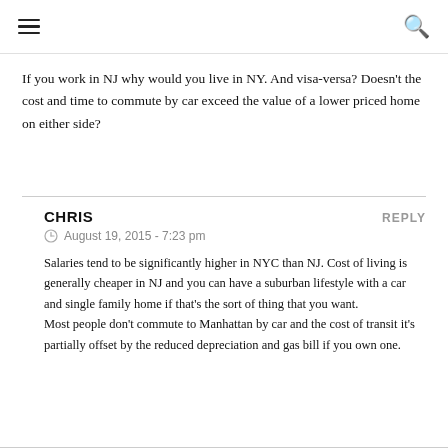[hamburger menu icon] [search icon]
If you work in NJ why would you live in NY. And visa-versa? Doesn't the cost and time to commute by car exceed the value of a lower priced home on either side?
CHRIS  REPLY
© August 19, 2015 - 7:23 pm
Salaries tend to be significantly higher in NYC than NJ. Cost of living is generally cheaper in NJ and you can have a suburban lifestyle with a car and single family home if that's the sort of thing that you want.
Most people don't commute to Manhattan by car and the cost of transit it's partially offset by the reduced depreciation and gas bill if you own one.